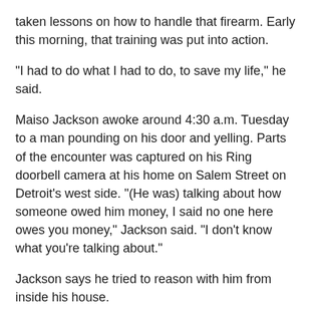taken lessons on how to handle that firearm. Early this morning, that training was put into action.
"I had to do what I had to do, to save my life," he said.
Maiso Jackson awoke around 4:30 a.m. Tuesday to a man pounding on his door and yelling. Parts of the encounter was captured on his Ring doorbell camera at his home on Salem Street on Detroit’s west side. "(He was) talking about how someone owed him money, I said no one here owes you money," Jackson said. "I don't know what you're talking about."
Jackson says he tried to reason with him from inside his house.
"He wouldn’t leave, so I dialed 911," he said.